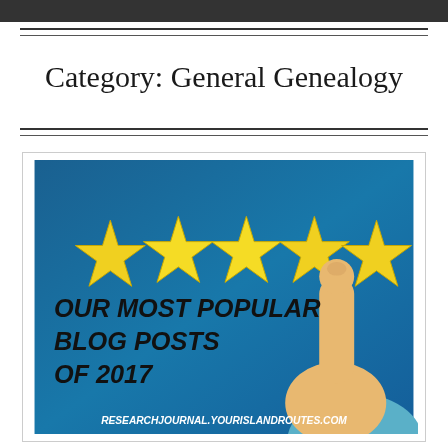Category: General Genealogy
[Figure (illustration): Promotional image with dark blue background showing five yellow stars, a hand pointing finger icon, bold italic black text reading OUR MOST POPULAR BLOG POSTS OF 2017, and white italic text at the bottom reading RESEARCHJOURNAL.YOURISLANDROUTES.COM]